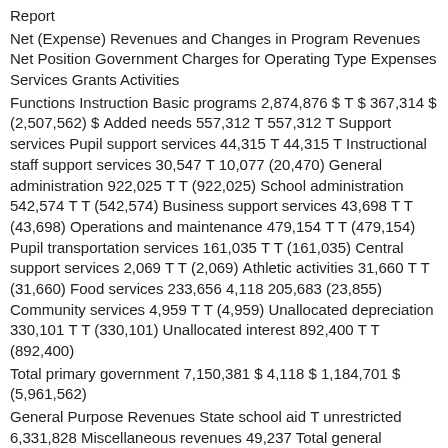Report
Net (Expense) Revenues and Changes in Program Revenues Net Position Government Charges for Operating Type Expenses Services Grants Activities
Functions Instruction Basic programs 2,874,876 $ Τ $ 367,314 $ (2,507,562) $ Added needs 557,312 Τ 557,312 Τ Support services Pupil support services 44,315 Τ 44,315 Τ Instructional staff support services 30,547 Τ 10,077 (20,470) General administration 922,025 Τ Τ (922,025) School administration 542,574 Τ Τ (542,574) Business support services 43,698 Τ Τ (43,698) Operations and maintenance 479,154 Τ Τ (479,154) Pupil transportation services 161,035 Τ Τ (161,035) Central support services 2,069 Τ Τ (2,069) Athletic activities 31,660 Τ Τ (31,660) Food services 233,656 4,118 205,683 (23,855) Community services 4,959 Τ Τ (4,959) Unallocated depreciation 330,101 Τ Τ (330,101) Unallocated interest 892,400 Τ Τ (892,400)
Total primary government 7,150,381 $ 4,118 $ 1,184,701 $ (5,961,562)
General Purpose Revenues State school aid Τ unrestricted 6,331,828 Miscellaneous revenues 49,237 Total general purpose revenues 6,381,065
Change in net position 419,503
Net position Τ July 1, 2014 (519,527) Net position Τ June